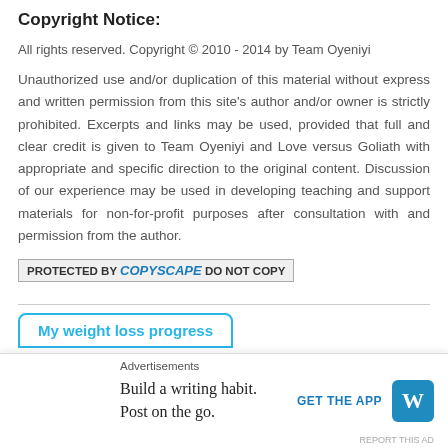Copyright Notice:
All rights reserved. Copyright © 2010 - 2014 by Team Oyeniyi
Unauthorized use and/or duplication of this material without express and written permission from this site's author and/or owner is strictly prohibited. Excerpts and links may be used, provided that full and clear credit is given to Team Oyeniyi and Love versus Goliath with appropriate and specific direction to the original content. Discussion of our experience may be used in developing teaching and support materials for non-for-profit purposes after consultation with and permission from the author.
[Figure (other): Copyscape badge: PROTECTED BY COPYSCAPE DO NOT COPY]
My weight loss progress
Advertisements
Build a writing habit. Post on the go. GET THE APP